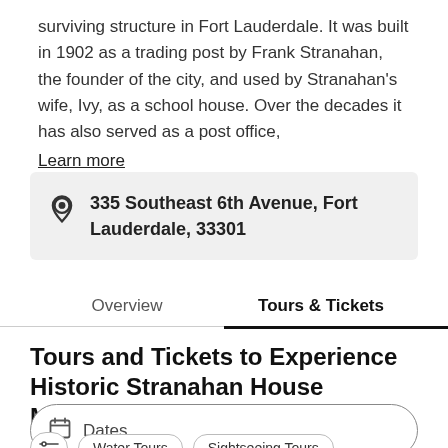surviving structure in Fort Lauderdale. It was built in 1902 as a trading post by Frank Stranahan, the founder of the city, and used by Stranahan's wife, Ivy, as a school house. Over the decades it has also served as a post office, Learn more
335 Southeast 6th Avenue, Fort Lauderdale, 33301
Overview   Tours & Tickets
Tours and Tickets to Experience Historic Stranahan House Museum
Dates
Water Tours   Sightseeing Tours